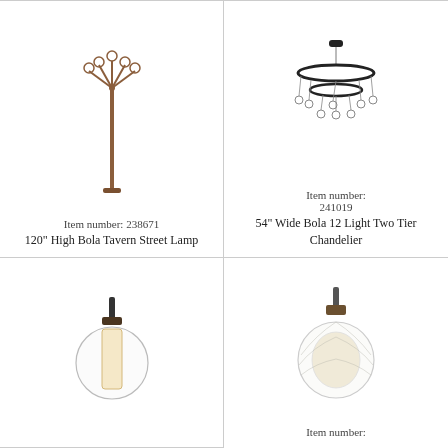[Figure (illustration): 120 inch high Bola Tavern Street Lamp - tall pole with decorative top holding multiple globe lights]
Item number: 238671
120" High Bola Tavern Street Lamp
[Figure (illustration): 54 inch Wide Bola 12 Light Two Tier Chandelier - two circular rings with hanging globe pendants]
Item number: 241019
54" Wide Bola 12 Light Two Tier Chandelier
[Figure (illustration): Pendant light with clear globe shade and rectangular inner diffuser, dark bronze finish]
[Figure (illustration): Pendant light with large clear ribbed globe shade and white inner shade, stem mount]
Item number: